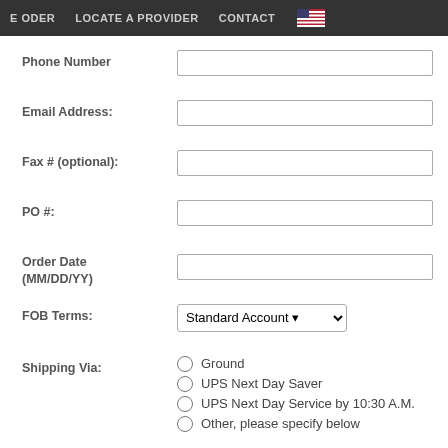E ODER   LOCATE A PROVIDER   CONTACT
Phone Number
Email Address:
Fax # (optional):
PO #:
Order Date (MM/DD/YY)
FOB Terms:
Shipping Via:
Ground
UPS Next Day Saver
UPS Next Day Service by 10:30 A.M.
Other, please specify below
Other shipping method, please specify: